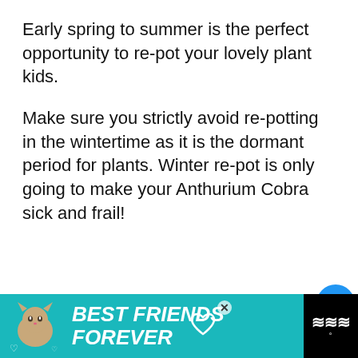Early spring to summer is the perfect opportunity to re-pot your lovely plant kids.
Make sure you strictly avoid re-potting in the wintertime as it is the dormant period for plants. Winter re-pot is only going to make your Anthurium Cobra sick and frail!
[Figure (screenshot): Social media UI elements: heart/like button (blue circle), count of 3, share button, and a 'What's Next' panel showing Anthurium Pedatum thumbnail]
[Figure (infographic): Advertisement banner: teal background with cat image on left, text 'BEST FRIENDS FOREVER' in white bold italic, heart icons, close button, and a dark logo area on right with wavy lines]